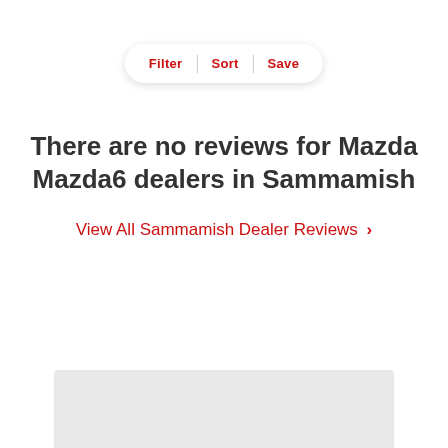[Figure (screenshot): Filter/Sort/Save button bar with rounded pill shape and red text labels]
There are no reviews for Mazda Mazda6 dealers in Sammamish
View All Sammamish Dealer Reviews >